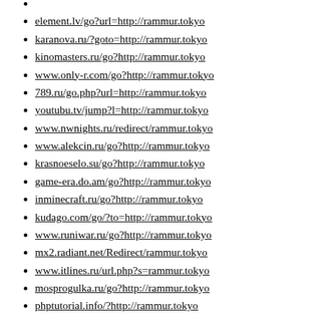element.lv/go?url=http://rammur.tokyo
karanova.ru/?goto=http://rammur.tokyo
kinomasters.ru/go?http://rammur.tokyo
www.only-r.com/go?http://rammur.tokyo
789.ru/go.php?url=http://rammur.tokyo
youtubu.tv/jump?l=http://rammur.tokyo
www.nwnights.ru/redirect/rammur.tokyo
www.alekcin.ru/go?http://rammur.tokyo
krasnoeselo.su/go?http://rammur.tokyo
game-era.do.am/go?http://rammur.tokyo
inminecraft.ru/go?http://rammur.tokyo
kudago.com/go/?to=http://rammur.tokyo
www.runiwar.ru/go?http://rammur.tokyo
mx2.radiant.net/Redirect/rammur.tokyo
www.itlines.ru/url.php?s=rammur.tokyo
mosprogulka.ru/go?http://rammur.tokyo
phptutorial.info/?http://rammur.tokyo
dobrye-ruki.ru/go?http://rammur.tokyo